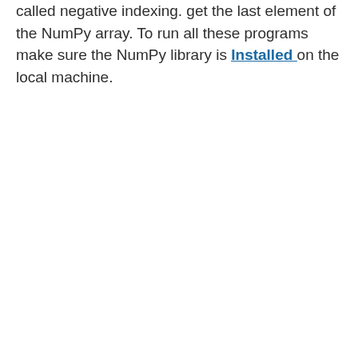called negative indexing. get the last element of the NumPy array. To run all these programs make sure the NumPy library is Installed on the local machine.